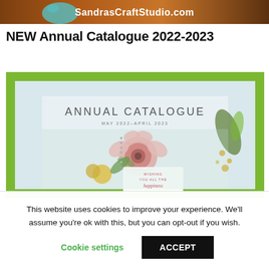[Figure (photo): Top banner showing SandrasCraftStudio.com website header with autumn landscape and teal shape]
NEW Annual Catalogue 2022-2023
[Figure (photo): Annual Catalogue May 2022-April 2023 cover image with green border, floral card with pink peony, yellow flowers, and 'Wishing you all the happiness' text]
This website uses cookies to improve your experience. We'll assume you're ok with this, but you can opt-out if you wish.
Cookie settings    ACCEPT